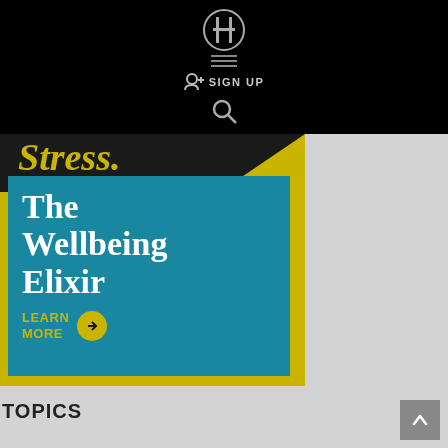Navigation bar with logo, hamburger menu, SIGN UP, and search icon
[Figure (screenshot): Advertisement banner for 'The Wellbeing Elixir' with yellow background, teal box, 'Stress.' text at top, large white serif title text 'The Wellbeing Elixir', and yellow 'LEARN MORE' button with arrow circle]
TOPICS